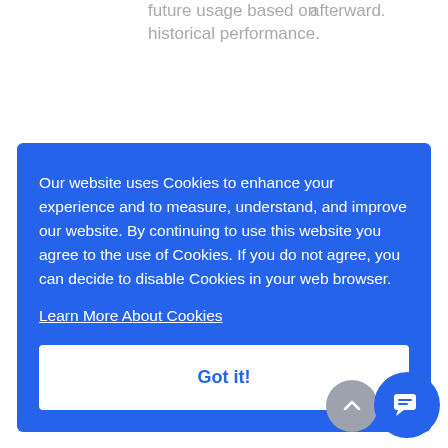future usage based on historical performance.
afterward.
Our website uses Cookies to enhance your experience and to measure, understand, and improve our website. By continuing to use this website you agree to the use of Cookies. If you do not agree, you can decide to disable Cookies in your web browser. Learn More About Cookies
Got it!